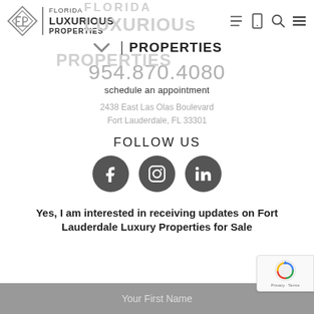[Figure (logo): Florida Luxurious Properties logo with diamond FLP icon and text, plus watermark text in background, and phone/search/menu nav icons]
954.870.4080
schedule an appointment
2438 East Las Olas Boulevard
Fort Lauderdale, FL 33301
FOLLOW US
[Figure (infographic): Three dark gray social media icon circles: Facebook (f), Instagram (camera), LinkedIn (in)]
Yes, I am interested in receiving updates on Fort Lauderdale Luxury Properties for Sale
Your First Name